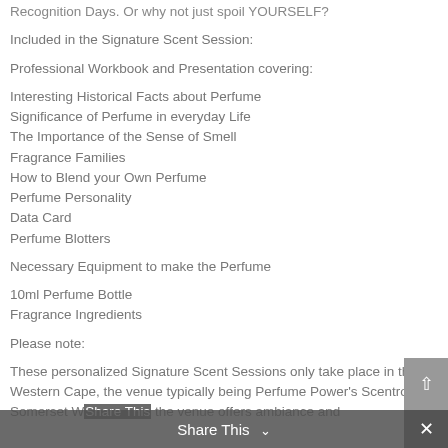Recognition Days. Or why not just spoil YOURSELF?
Included in the Signature Scent Session:
Professional Workbook and Presentation covering:
Interesting Historical Facts about Perfume
Significance of Perfume in everyday Life
The Importance of the Sense of Smell
Fragrance Families
How to Blend your Own Perfume
Perfume Personality
Data Card
Perfume Blotters
Necessary Equipment to make the Perfume
10ml Perfume Bottle
Fragrance Ingredients
Please note:
These personalized Signature Scent Sessions only take place in the Western Cape, the venue typically being Perfume Power's Scentroom in Somerset W... the venue offers ambiance and...